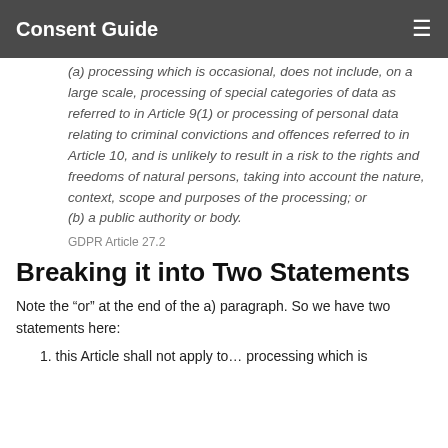Consent Guide
(a) processing which is occasional, does not include, on a large scale, processing of special categories of data as referred to in Article 9(1) or processing of personal data relating to criminal convictions and offences referred to in Article 10, and is unlikely to result in a risk to the rights and freedoms of natural persons, taking into account the nature, context, scope and purposes of the processing; or
(b) a public authority or body.
GDPR Article 27.2
Breaking it into Two Statements
Note the “or” at the end of the a) paragraph. So we have two statements here:
1. this Article shall not apply to… processing which is